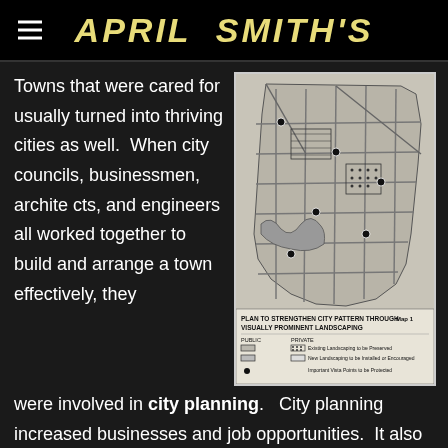APRIL SMITH'S
Towns that were cared for usually turned into thriving cities as well.  When city councils, businessmen, architects, and engineers all worked together to build and arrange a town effectively, they were involved in city planning.   City planning increased businesses and job opportunities.  It also provided services for its residents which made it
[Figure (map): Plan to Strengthen City Pattern Through Visually Prominent Landscaping, Map 1. Shows a city map with public and private landscaping areas. Legend includes: Existing Landscaping to be Preserved, New Landscaping to be Installed or Encouraged, Important Vista Points to be Protected.]